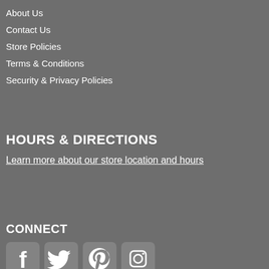About Us
Contact Us
Store Policies
Terms & Conditions
Security & Privacy Policies
HOURS & DIRECTIONS
Learn more about our store location and hours
CONNECT
[Figure (infographic): Social media icons: Facebook, Twitter, Pinterest, Instagram]